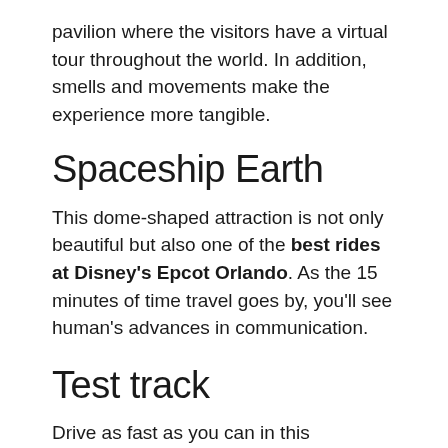pavilion where the visitors have a virtual tour throughout the world. In addition, smells and movements make the experience more tangible.
Spaceship Earth
This dome-shaped attraction is not only beautiful but also one of the best rides at Disney's Epcot Orlando. As the 15 minutes of time travel goes by, you'll see human's advances in communication.
Test track
Drive as fast as you can in this simulator. After creating your own car, take it to the